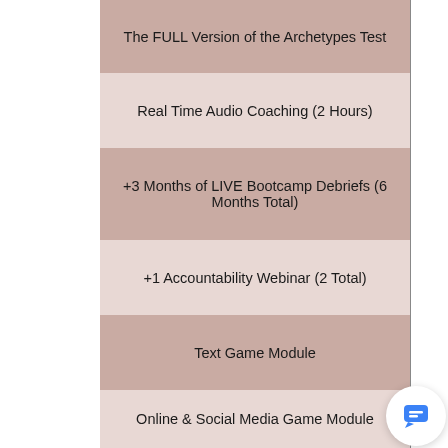The FULL Version of the Archetypes Test
Real Time Audio Coaching (2 Hours)
+3 Months of LIVE Bootcamp Debriefs (6 Months Total)
+1 Accountability Webinar (2 Total)
Text Game Module
Online & Social Media Game Module